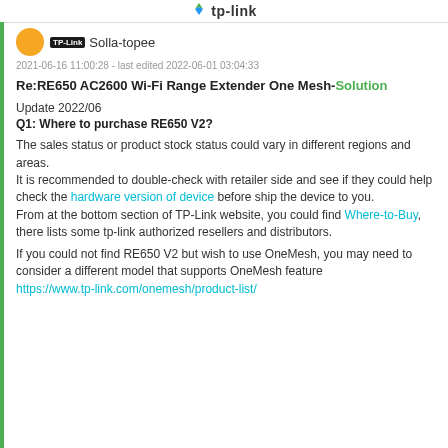tp-link
[Figure (logo): TP-Link logo with arrow icon and tp-link text in header]
TP-Link Solla-topee
2021-06-16 11:00:28 - last edited 2022-06-01 03:04:33
Re:RE650 AC2600 Wi-Fi Range Extender One Mesh-Solution
Update 2022/06
Q1: Where to purchase RE650 V2?
The sales status or product stock status could vary in different regions and areas.
It is recommended to double-check with retailer side and see if they could help check the hardware version of device before ship the device to you.
From at the bottom section of TP-Link website, you could find Where-to-Buy, there lists some tp-link authorized resellers and distributors.
If you could not find RE650 V2 but wish to use OneMesh, you may need to consider a different model that supports OneMesh feature
https://www.tp-link.com/onemesh/product-list/